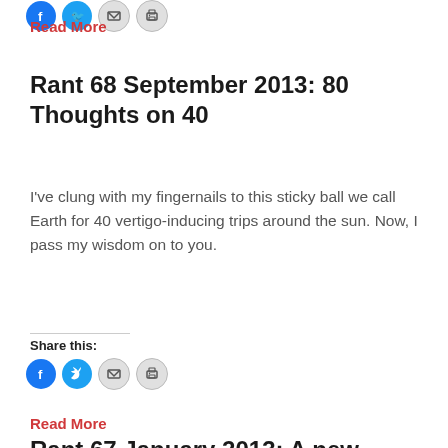[Figure (other): Social share icons (Facebook, Twitter, Email, Print) at top of page]
Read More
Rant 68 September 2013: 80 Thoughts on 40
I've clung with my fingernails to this sticky ball we call Earth for 40 vertigo-inducing trips around the sun. Now, I pass my wisdom on to you.
Share this:
[Figure (other): Social share icons (Facebook, Twitter, Email, Print) mid page]
Read More
Rant 67 January 2013: A new chapter No...